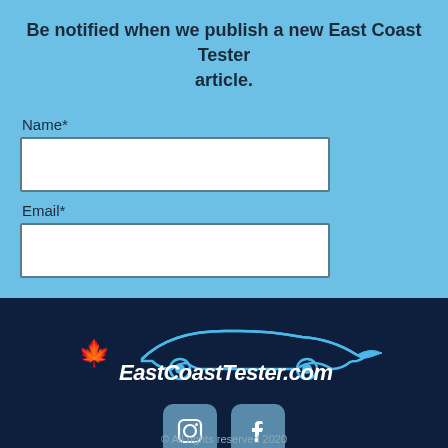Be notified when we publish a new East Coast Tester article.
Name*
Email*
Subscribe
[Figure (logo): EastCoastTester.com logo with car silhouette and red maple leaf]
[Figure (infographic): Instagram and Facebook social media icons in rounded square buttons]
© All rights reserved 2020